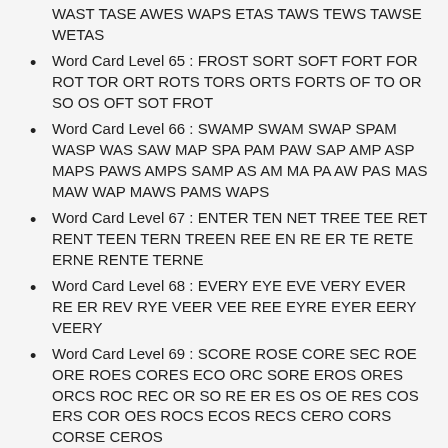WAST TASE AWES WAPS ETAS TAWS TEWS TAWSE WETAS
Word Card Level 65 : FROST SORT SOFT FORT FOR ROT TOR ORT ROTS TORS ORTS FORTS OF TO OR SO OS OFT SOT FROT
Word Card Level 66 : SWAMP SWAM SWAP SPAM WASP WAS SAW MAP SPA PAM PAW SAP AMP ASP MAPS PAWS AMPS SAMP AS AM MA PA AW PAS MAS MAW WAP MAWS PAMS WAPS
Word Card Level 67 : ENTER TEN NET TREE TEE RET RENT TEEN TERN TREEN REE EN RE ER TE RETE ERNE RENTE TERNE
Word Card Level 68 : EVERY EYE EVE VERY EVER RE ER REV RYE VEER VEE REE EYRE EYER EERY VEERY
Word Card Level 69 : SCORE ROSE CORE SEC ROE ORE ROES CORES ECO ORC SORE EROS ORES ORCS ROC REC OR SO RE ER ES OS OE RES COS ERS COR OES ROCS ECOS RECS CERO CORS CORSE CEROS
Word Card Level 70 : BOUND NOD BUD DUO BOND